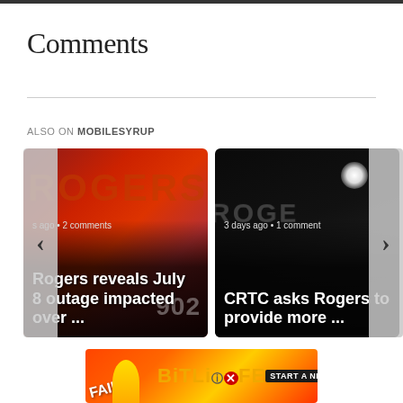Comments
ALSO ON MOBILESYRUP
[Figure (screenshot): Card 1: Rogers reveals July 8 outage impacted over ... — with Rogers sign background image, showing 's ago • 2 comments' metadata]
[Figure (screenshot): Card 2: CRTC asks Rogers to provide more ... — with dark night background image, showing '3 days ago • 1 comment' metadata]
[Figure (other): Advertisement banner: BitLife 'FAIL' themed ad with 'START A NEW LIFE' tagline]